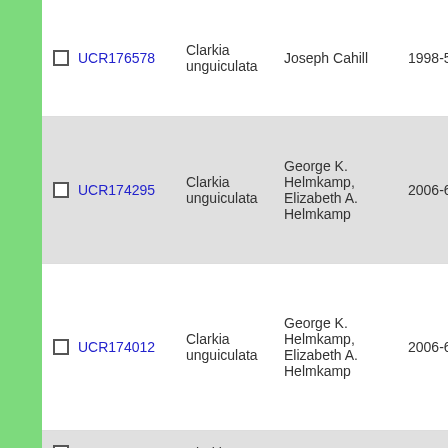|  | ID | Species | Collector | Date |  |
| --- | --- | --- | --- | --- | --- |
| ☐ | UCR176578 | Clarkia unguiculata | Joseph Cahill | 1998-5-24 | 1 |
| ☐ | UCR174295 | Clarkia unguiculata | George K. Helmkamp, Elizabeth A. Helmkamp | 2006-6-7 | 1 |
| ☐ | UCR174012 | Clarkia unguiculata | George K. Helmkamp, Elizabeth A. Helmkamp | 2006-6-14 | 1 |
| ☐ | UCR173384 | Clarkia | George K. Helmkamp, | 2006-6-4 |  |